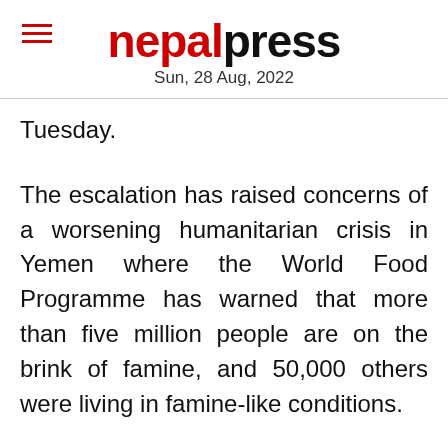nepalpress — Sun, 28 Aug, 2022
Tuesday.
The escalation has raised concerns of a worsening humanitarian crisis in Yemen where the World Food Programme has warned that more than five million people are on the brink of famine, and 50,000 others were living in famine-like conditions.